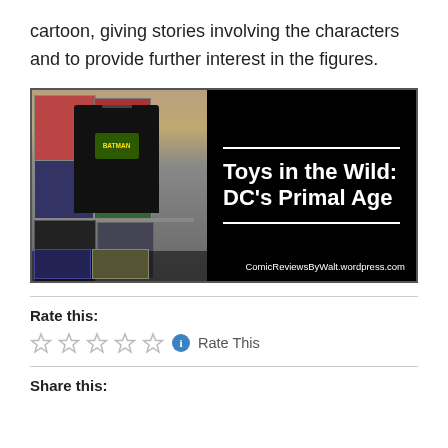cartoon, giving stories involving the characters and to provide further interest in the figures.
[Figure (photo): A store display with DC Primal Age toy packages on a shelf, a black Batman t-shirt on a mannequin, and a title overlay reading 'Toys in the Wild: DC's Primal Age' with the URL ComicReviewsByWalt.wordpress.com]
Rate this:
☆☆☆☆☆ ℹ Rate This
Share this: